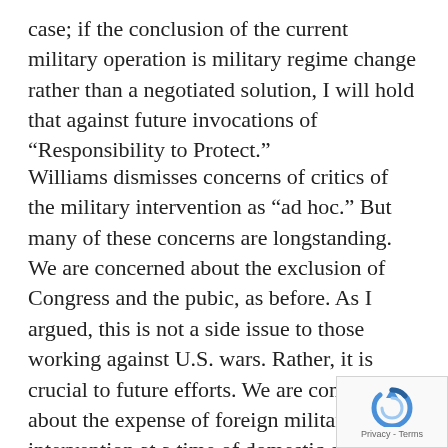case; if the conclusion of the current military operation is military regime change rather than a negotiated solution, I will hold that against future invocations of “Responsibility to Protect.”
Williams dismisses concerns of critics of the military intervention as “ad hoc.” But many of these concerns are longstanding. We are concerned about the exclusion of Congress and the pubic, as before. As I argued, this is not a side issue to those working against U.S. wars. Rather, it is crucial to future efforts. We are concerned about the expense of foreign military intervention at a time of domestic cuts, as before. We are concerned about proposals that the United States arm people who may have been involved in terrorism in the past and may be involved in terrorism in the future, as before. We are concerned about sel focus on abuses of a U.S. “enemy,” while the
[Figure (other): reCAPTCHA badge with logo and Privacy - Terms text]